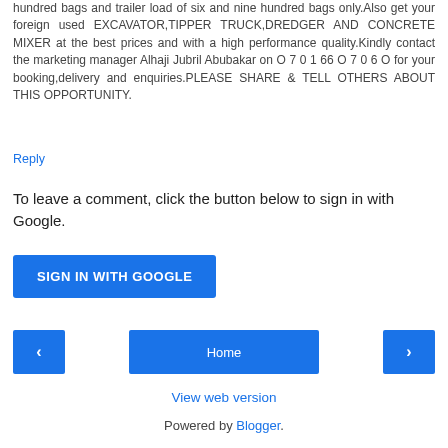hundred bags and trailer load of six and nine hundred bags only.Also get your foreign used EXCAVATOR,TIPPER TRUCK,DREDGER AND CONCRETE MIXER at the best prices and with a high performance quality.Kindly contact the marketing manager Alhaji Jubril Abubakar on O 7 0 1 66 O 7 0 6 O for your booking,delivery and enquiries.PLEASE SHARE & TELL OTHERS ABOUT THIS OPPORTUNITY.
Reply
To leave a comment, click the button below to sign in with Google.
SIGN IN WITH GOOGLE
Home
View web version
Powered by Blogger.